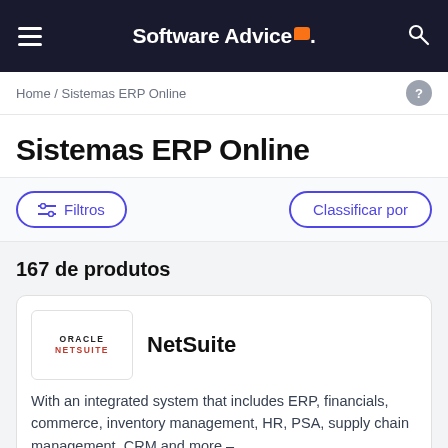Software Advice.
Home / Sistemas ERP Online
Sistemas ERP Online
Filtros | Classificar por
167 de produtos
NetSuite
With an integrated system that includes ERP, financials, commerce, inventory management, HR, PSA, supply chain management, CRM and more –